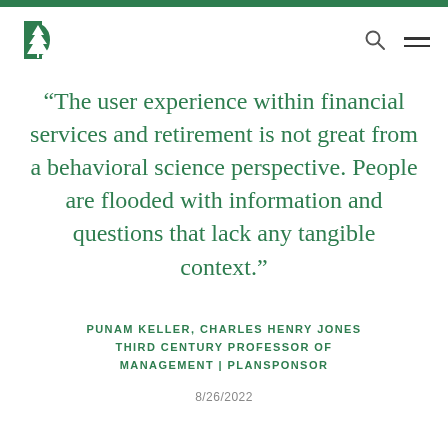[Figure (logo): Dartmouth College green pine tree logo with letter D]
“The user experience within financial services and retirement is not great from a behavioral science perspective. People are flooded with information and questions that lack any tangible context.”
PUNAM KELLER, CHARLES HENRY JONES THIRD CENTURY PROFESSOR OF MANAGEMENT | PLANSPONSOR
8/26/2022